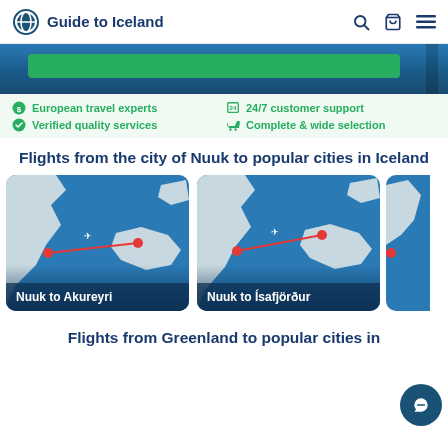Guide to Iceland
[Figure (screenshot): Hero banner with green search/booking bar over blue background image]
European travel experts
24/7 customer support
Verified quality services
Complete & wide selection
Flights from the city of Nuuk to popular cities in Iceland
[Figure (map): Map showing flight route from Nuuk to Akureyri with red line and pins]
Nuuk to Akureyri
[Figure (map): Map showing flight route from Nuuk to Isafjordur with red line and pins]
Nuuk to Ísafjörður
Flights from Greenland to popular cities in